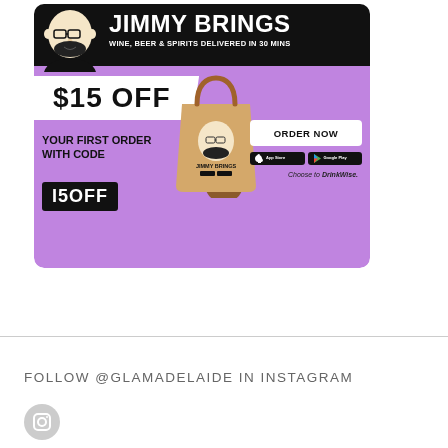[Figure (infographic): Jimmy Brings alcohol delivery advertisement. Purple background with black top band. Features brand mascot illustration, brand name 'JIMMY BRINGS', tagline 'WINE, BEER & SPIRITS DELIVERED IN 30 MINS', '$15 OFF' discount stripe, paper bag illustration with face logo, 'ORDER NOW' button, App Store and Google Play buttons, 'Choose to DrinkWise.' text, 'YOUR FIRST ORDER WITH CODE' text, and code box showing 'I5OFF'.]
FOLLOW @GLAMADELAIDE IN INSTAGRAM